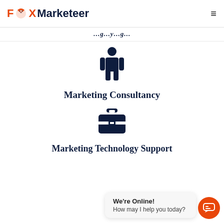FOX Marketeer
...g...y...g...
[Figure (illustration): Dark navy silhouette icon of a standing person (consultant figure)]
Marketing Consultancy
[Figure (illustration): Dark navy briefcase/toolbox icon representing marketing technology support]
Marketing Technology Support
We're Online!
How may I help you today?